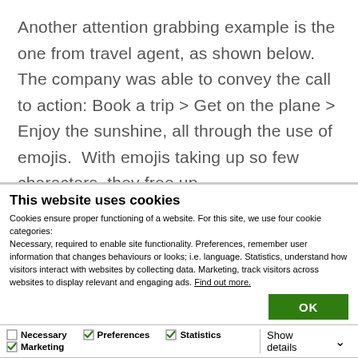Another attention grabbing example is the one from travel agent, as shown below. The company was able to convey the call to action: Book a trip > Get on the plane > Enjoy the sunshine, all through the use of emojis. With emojis taking up so few characters, they free up
This website uses cookies
Cookies ensure proper functioning of a website. For this site, we use four cookie categories:
Necessary, required to enable site functionality. Preferences, remember user information that changes behaviours or looks; i.e. language. Statistics, understand how visitors interact with websites by collecting data. Marketing, track visitors across websites to display relevant and engaging ads. Find out more.
OK
Necessary  Preferences  Statistics  Marketing  Show details